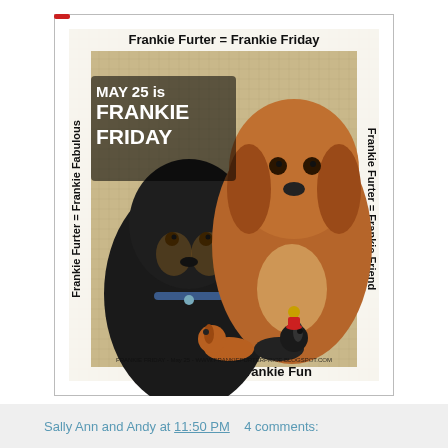[Figure (photo): Frankie Furter Friday promotional image showing two dachshund dogs (one black/tan long-haired, one red/golden long-haired) on a tan graph-paper background, with two small dachshund plush/toy figures in the foreground. Text borders read: top: 'Frankie Furter = Frankie Friday', left (vertical): 'Frankie Furter = Frankie Fabulous', right (vertical): 'Frankie Furter = Frankie Friend', bottom: 'Frankie Furter = Frankie Fun', center overlay: 'MAY 25 is FRANKIE FRIDAY', bottom small text: 'FRANKIE FRIDAY - May 25 - WWW.FRANKIEFURTERPRICE.BLOGSPOT.COM']
Sally Ann and Andy at 11:50 PM    4 comments:
Friday, May 18, 2012
Training your human